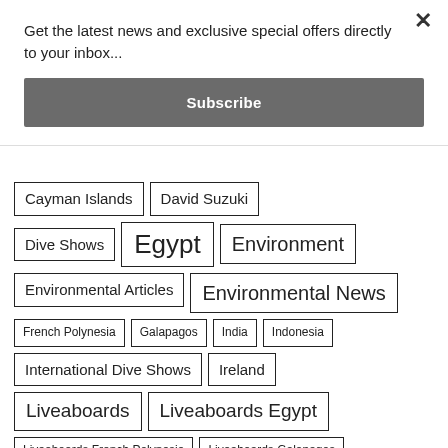Get the latest news and exclusive special offers directly to your inbox...
Subscribe
Cayman Islands
David Suzuki
Dive Shows
Egypt
Environment
Environmental Articles
Environmental News
French Polynesia
Galapagos
India
Indonesia
International Dive Shows
Ireland
Liveaboards
Liveaboards Egypt
Liveaboards French Polynesia
Liveaboards Galapagos
Liveaboards Maldives